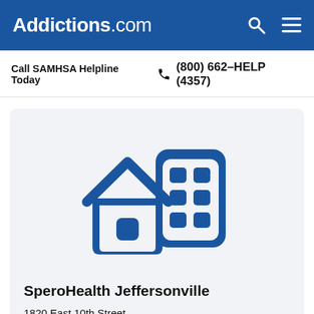Addictions.com
Call SAMHSA Helpline Today  (800) 662-HELP (4357)
[Figure (illustration): Icon of a house and a building/office in dark blue, representing a treatment facility]
SperoHealth Jeffersonville
1820 East 10th Street
Jeffersonville, IN 47130